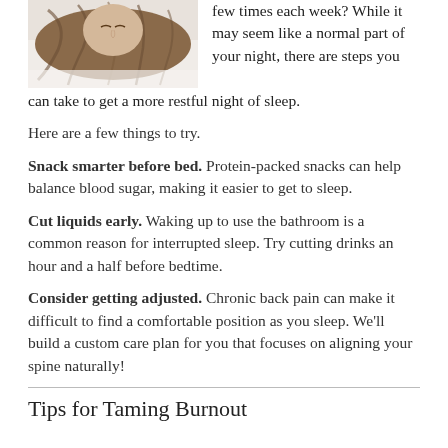[Figure (photo): Person lying down with hair spread out on pillow, viewed from above]
few times each week? While it may seem like a normal part of your night, there are steps you can take to get a more restful night of sleep.
Here are a few things to try.
Snack smarter before bed. Protein-packed snacks can help balance blood sugar, making it easier to get to sleep.
Cut liquids early. Waking up to use the bathroom is a common reason for interrupted sleep. Try cutting drinks an hour and a half before bedtime.
Consider getting adjusted. Chronic back pain can make it difficult to find a comfortable position as you sleep. We'll build a custom care plan for you that focuses on aligning your spine naturally!
Tips for Taming Burnout